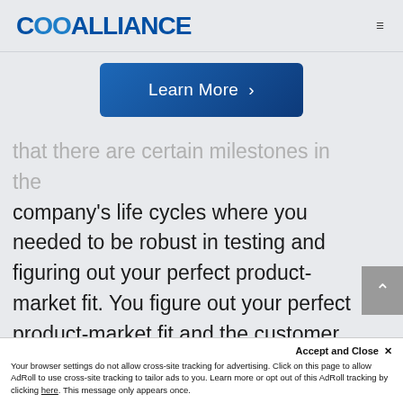COOALLIANCE
[Figure (other): Learn More button with chevron, dark blue gradient background]
that there are certain milestones in the company's life cycles where you needed to be robust in testing and figuring out your perfect product-market fit. You figure out your perfect product-market fit and the customer subset you want to go after and you enter milestone number two, where you need to put in some light scaling mechanisms. That might b…
Accept and Close ✕
Your browser settings do not allow cross-site tracking for advertising. Click on this page to allow AdRoll to use cross-site tracking to tailor ads to you. Learn more or opt out of this AdRoll tracking by clicking here. This message only appears once.